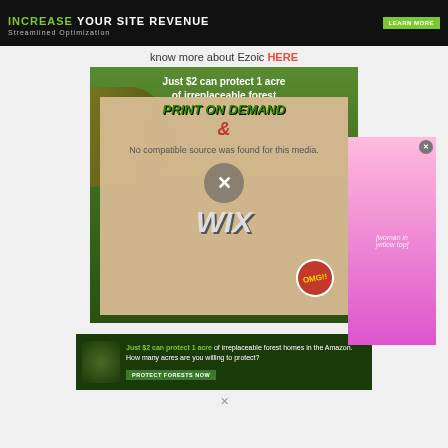[Figure (screenshot): Dark banner ad with green and white text 'INCREASE YOUR SITE REVENUE' and 'Streamlined Optimization' with a green LEARN MORE button]
know more about Ezoic HERE
[Figure (screenshot): Forest/Amazon conservation ad partially visible behind overlapping ads. Shows text 'Just $2 can protect 1 acre of irreplaceable forest' with green jungle background.]
[Figure (screenshot): Overlay popup showing 'PRINT ON DEMAND & WIX' ad with 'OMG!!' badge and a media player showing 'No compatible source was found for this media.' with an X circle button]
[Figure (screenshot): Side popup showing a woman in yellow top making OK gesture on pink/purple background with close X button]
[Figure (screenshot): Bottom banner: 'Just $2 can protect 1 acre of irreplaceable forest homes in the Amazon. How many acres are you willing to protect?' with PROTECT FORESTS NOW button]